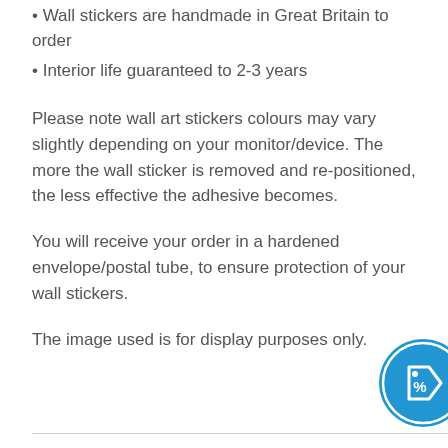• Wall stickers are handmade in Great Britain to order
• Interior life guaranteed to 2-3 years
Please note wall art stickers colours may vary slightly depending on your monitor/device. The more the wall sticker is removed and re-positioned, the less effective the adhesive becomes.
You will receive your order in a hardened envelope/postal tube, to ensure protection of your wall stickers.
The image used is for display purposes only.
[Figure (logo): Blue circular badge/icon with a price tag symbol and percent sign in white]